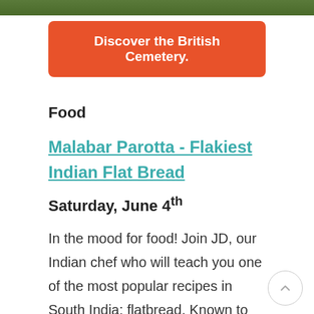[Figure (photo): Green grassy area top strip image]
Discover the British Cemetery.
Food
Malabar Parotta - Flakiest Indian Flat Bread
Saturday, June 4th
In the mood for food! Join JD, our Indian chef who will teach you one of the most popular recipes in South India: flatbread. Known to be crispy and flaky this dish is a must-learn if